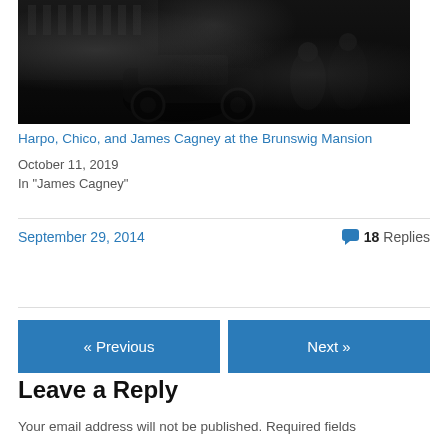[Figure (photo): Black and white vintage photograph showing people near an old automobile, associated with Harpo, Chico, and James Cagney at the Brunswig Mansion]
Harpo, Chico, and James Cagney at the Brunswig Mansion
October 11, 2019
In "James Cagney"
September 29, 2014
18 Replies
« Previous
Next »
Leave a Reply
Your email address will not be published. Required fields